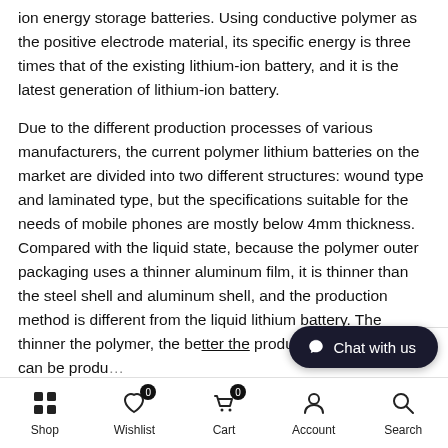ion energy storage batteries. Using conductive polymer as the positive electrode material, its specific energy is three times that of the existing lithium-ion battery, and it is the latest generation of lithium-ion battery.
Due to the different production processes of various manufacturers, the current polymer lithium batteries on the market are divided into two different structures: wound type and laminated type, but the specifications suitable for the needs of mobile phones are mostly below 4mm thickness. Compared with the liquid state, because the polymer outer packaging uses a thinner aluminum film, it is thinner than the steel shell and aluminum shell, and the production method is different from the liquid lithium battery. The thinner the polymer, the better the production. In theory, it can be produ
Shop  Wishlist  Cart  Account  Search